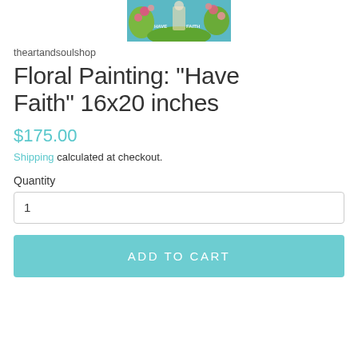[Figure (photo): Product image thumbnail showing a colorful floral painting with 'Have Faith' text, teal/turquoise background with flowers and a figure]
theartandsoulshop
Floral Painting: "Have Faith" 16x20 inches
$175.00
Shipping calculated at checkout.
Quantity
1
ADD TO CART